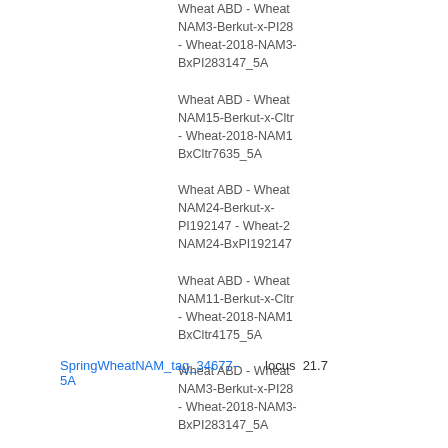Wheat ABD - Wheat NAM3-Berkut-x-PI28 - Wheat-2018-NAM3-BxPI283147_5A
Wheat ABD - Wheat NAM15-Berkut-x-Cltr - Wheat-2018-NAM15-BxCltr7635_5A
Wheat ABD - Wheat NAM24-Berkut-x-PI192147 - Wheat-2018-NAM24-BxPI192147
Wheat ABD - Wheat NAM11-Berkut-x-Cltr - Wheat-2018-NAM11-BxCltr4175_5A
Wheat ABD - Wheat NAM3-Berkut-x-PI28 - Wheat-2018-NAM3-BxPI283147_5A
SpringWheatNAM_tag_34677-5A   locus   21.7
Wheat ABD - Wheat NAM29-Berkut-x-PI220431 - Wheat-2018-NAM29-BxPI220431
Wheat ABD - Wheat NAM13-Berkut-x-PI262611 - Wheat-2